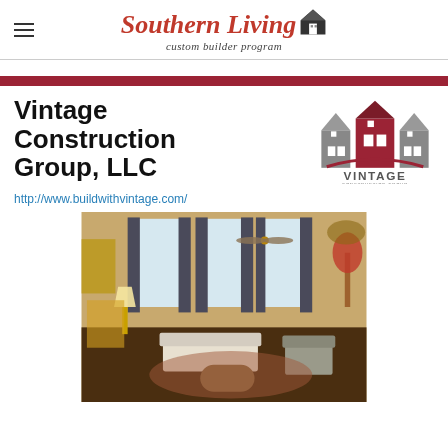Southern Living custom builder program
Vintage Construction Group, LLC
[Figure (logo): Vintage Construction Group logo with three house silhouettes in grey and red, with a red arch and text 'VINTAGE CONSTRUCTION GROUP']
http://www.buildwithvintage.com/
[Figure (photo): Interior photo of a well-decorated living room with ceiling fan, curtains, armchairs, sofa, lamps, and decorative plants]